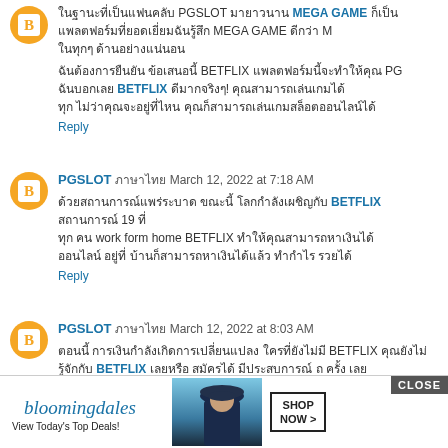Thai text block with PGSLOT, MEGA GAME (linked), BETFLIX (linked) comments and reply links
Comment by PGSLOT (Thai) March 12, 2022 at 7:18 AM - Thai text with BETFLIX, 19, work form home BETFLIX
Comment by PGSLOT (Thai) March 12, 2022 at 8:03 AM - Thai text with BETFLIX (linked)
[Figure (screenshot): Bloomingdale's advertisement banner: 'bloomingdales View Today's Top Deals!' with woman in blue hat and SHOP NOW > button, with CLOSE button]